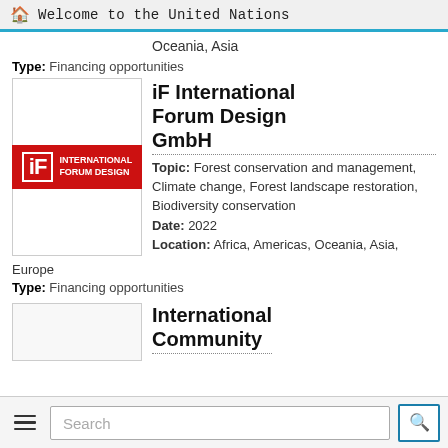Welcome to the United Nations
Oceania, Asia
Type: Financing opportunities
[Figure (logo): iF International Forum Design logo — red rectangle with white 'iF' mark and 'INTERNATIONAL FORUM DESIGN' text]
iF International Forum Design GmbH
Topic: Forest conservation and management, Climate change, Forest landscape restoration, Biodiversity conservation
Date: 2022
Location: Africa, Americas, Oceania, Asia, Europe
Type: Financing opportunities
International Community